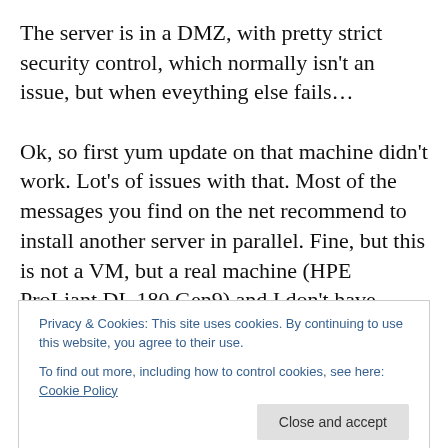The server is in a DMZ, with pretty strict security control, which normally isn't an issue, but when eveything else fails…

Ok, so first yum update on that machine didn't work. Lot's of issues with that. Most of the messages you find on the net recommend to install another server in parallel. Fine, but this is not a VM, but a real machine (HPE ProLiant DL 180 Gen9) and I don't have another one ! So I tried to update some packages manually. To make a long story short. glibc updated. but after that nothing worked as you
Privacy & Cookies: This site uses cookies. By continuing to use this website, you agree to their use.
To find out more, including how to control cookies, see here: Cookie Policy
Close and accept
situation, hopefully keeping my 7pl PS safe.